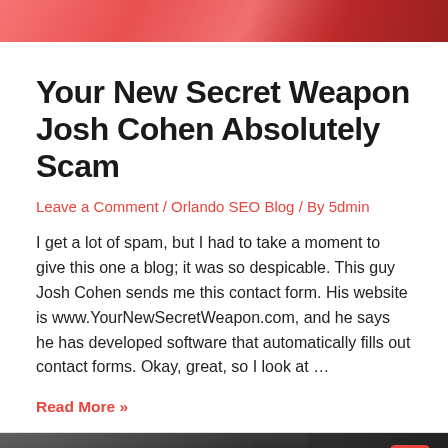[Figure (illustration): Top banner image with red/orange gradient, partial view of a keyboard or tech imagery on a coral/red background]
Your New Secret Weapon Josh Cohen Absolutely Scam
Leave a Comment / Orlando SEO Blog / By 5dmin
I get a lot of spam, but I had to take a moment to give this one a blog; it was so despicable. This guy Josh Cohen sends me this contact form. His website is www.YourNewSecretWeapon.com, and he says he has developed software that automatically fills out contact forms. Okay, great, so I look at …
Read More »
[Figure (photo): Bottom partial image showing a dark smartphone on a gray background]